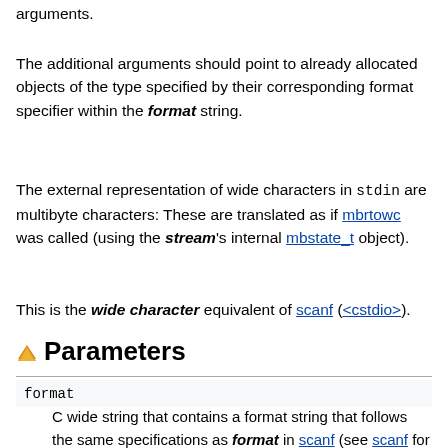arguments.
The additional arguments should point to already allocated objects of the type specified by their corresponding format specifier within the format string.
The external representation of wide characters in stdin are multibyte characters: These are translated as if mbrtowc was called (using the stream's internal mbstate_t object).
This is the wide character equivalent of scanf (<cstdio>).
Parameters
format
C wide string that contains a format string that follows the same specifications as format in scanf (see scanf for details). Notice though, that all format specifiers have the same